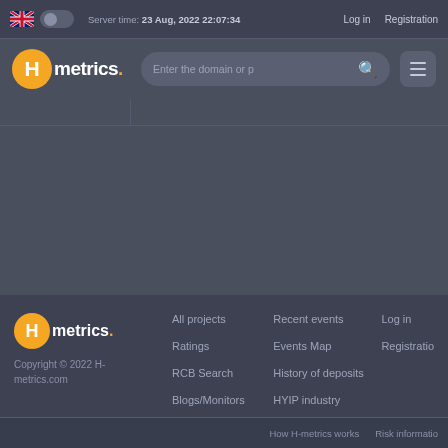Server time: 23 Aug, 2022 22:07:34  Log in  Registration
[Figure (screenshot): Hmetrics website header with logo, search bar, and menu button]
All projects  Ratings  RCB Search  Blogs/Monitors  Recent events  Events Map  History of deposits  HYIP industry  Log in  Registration  Copyright © 2022 H-metrics.com  How H-metrics works  Risk information